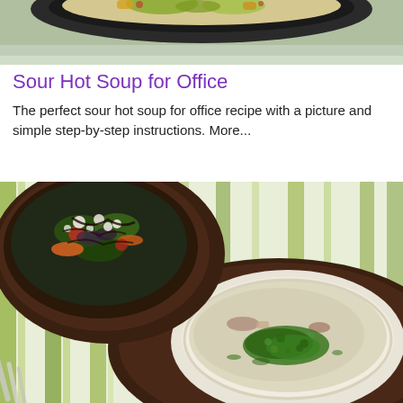[Figure (photo): Top portion of a food dish, partially visible, on a dark plate with green garnish and sauce]
Sour Hot Soup for Office
The perfect sour hot soup for office recipe with a picture and simple step-by-step instructions. More...
[Figure (photo): Two bowls of food on a striped green and white tablecloth: a dark brown bowl with colorful salad topped with white cheese and dark dressing on the left, and a white bowl with creamy soup garnished with chopped green herbs on a dark plate on the right, with silverware visible at the bottom left]